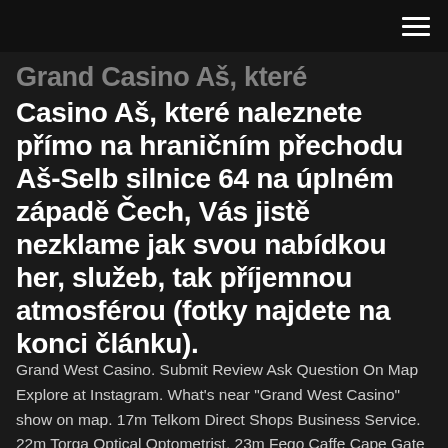[hamburger menu icon]
Grand Casino Aš, které naleznete přímo na hraničním přechodu Aš-Selb silnice 64 na úplném západě Čech, Vás jistě nezklame jak svou nabídkou her, služeb, tak příjemnou atmosférou (fotky najdete na konci článku).
Grand West Casino. Submit Review Ask Question On Map Explore at Instagram. What's near "Grand West Casino" show on map. 17m Telkom Direct Shops Business Service. 22m Torga Optical Optometrist. 23m Fego Caffe Cape Gate 23m NWJ Fine Jewellery WhereGrandWest Casino &